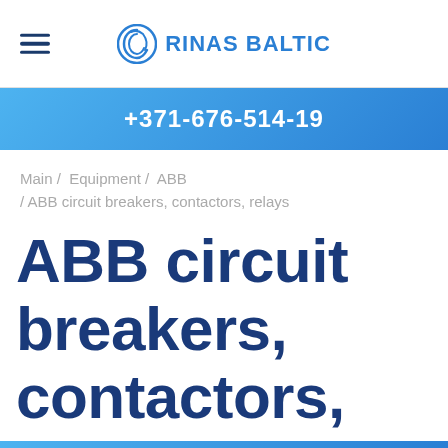RINAS BALTIC
+371-676-514-19
Main / Equipment / ABB / ABB circuit breakers, contactors, relays
ABB circuit breakers, contactors, relays